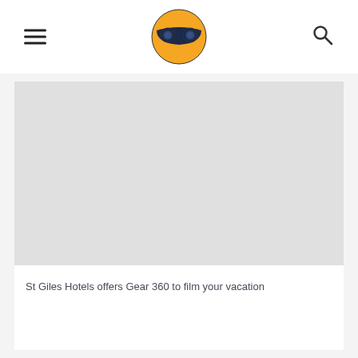[Figure (logo): Circular logo with a yellow/orange head wearing dark goggles/mask, representing a ninja or mascot character]
St Giles Hotels offers Gear 360 to film your vacation